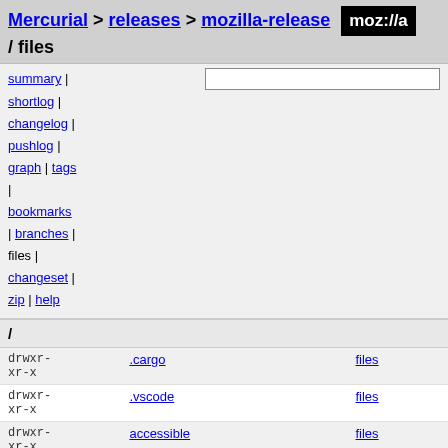Mercurial > releases > mozilla-release moz://a / files
summary |
shortlog |
changelog |
pushlog |
graph | tags
| bookmarks
| branches |
files |
changeset |
zip | help
/
| permissions | name | link |
| --- | --- | --- |
| drwxr-xr-x | .cargo | files |
| drwxr-xr-x | .vscode | files |
| drwxr-xr-x | accessible | files |
| drwxr-xr-x | browser | files |
| drwxr-xr-x | build | files |
| drwxr-xr-x | caps | files |